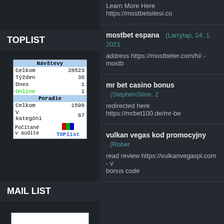Learn More Here https://mostbetsitesi.com
TOPLIST
| Návštevy |  |
| --- | --- |
| Celkom | 28523 |
| Týžden | 36 |
| Dnes | 1 |
| Online | 1 |
| Poradie |  |
| Celkom | 1598 |
| V kategóni | 67 |
| Počítané v audite | TOPlist |
MAIL LIST
mostbet espana    (Larrytap, 24. 1. 2021
address https://mostbeter.com/hi/ - mostb
mr bet casino bonus    (StephenStine, 2
redirected here https://mrbet100.de/mr-be
vulkan vegas kod promocyjny    (Rober
read review https://vulkanvegaspl.com - v bonus code